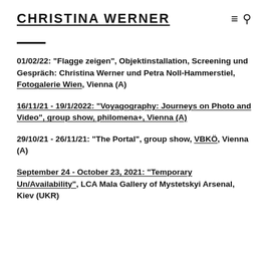CHRISTINA WERNER
01/02/22: "Flagge zeigen", Objektinstallation, Screening und Gespräch: Christina Werner und Petra Noll-Hammerstiel, Fotogalerie Wien, Vienna (A)
16/11/21 - 19/1/2022: "Voyagography: Journeys on Photo and Video", group show, philomena+, Vienna (A)
29/10/21 - 26/11/21: "The Portal", group show, VBKÖ, Vienna (A)
September 24 - October 23, 2021: "Temporary Un/Availability", LCA Mala Gallery of Mystetskyi Arsenal, Kiev (UKR)